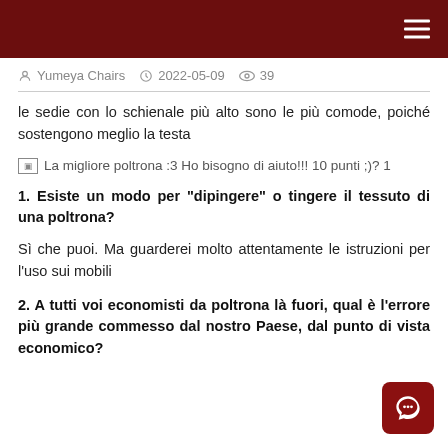Yumeya Chairs   2022-05-09   39
le sedie con lo schienale più alto sono le più comode, poiché sostengono meglio la testa
[Figure (other): Broken image placeholder with text: La migliore poltrona :3 Ho bisogno di aiuto!!! 10 punti ;)? 1]
1. Esiste un modo per "dipingere" o tingere il tessuto di una poltrona?
Sì che puoi. Ma guarderei molto attentamente le istruzioni per l'uso sui mobili
2. A tutti voi economisti da poltrona là fuori, qual è l'errore più grande commesso dal nostro Paese, dal punto di vista economico?